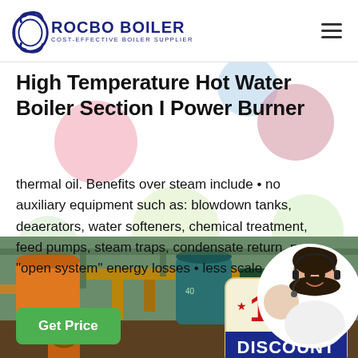ROCBO BOILER - COST-EFFECTIVE BOILER SUPPLIER
High Temperature Hot Water Boiler Section I Power Burner
thermal oil. Benefits over steam include • no auxiliary equipment such as: blowdown tanks, deaerators, water softeners, chemical treatment, feed pumps, steam traps, condensate return, no "open system" energy losses • less scale and cor
[Figure (illustration): 10% DISCOUNT badge hanging from a string]
[Figure (photo): Industrial boiler room with orange and teal equipment]
[Figure (photo): Customer service representative with headset, circular crop]